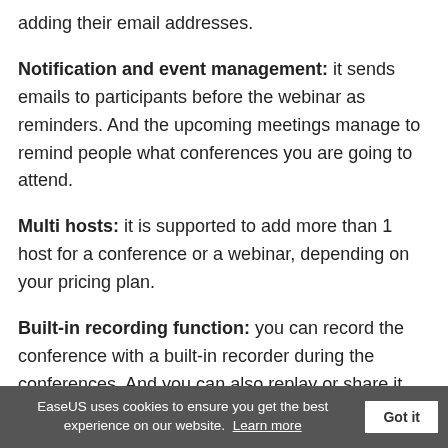adding their email addresses.
Notification and event management: it sends emails to participants before the webinar as reminders. And the upcoming meetings manage to remind people what conferences you are going to attend.
Multi hosts: it is supported to add more than 1 host for a conference or a webinar, depending on your pricing plan.
Built-in recording function: you can record the conference with a built-in recorder during the conferences. And you can also replay or share it with links after the conference.
EaseUS uses cookies to ensure you get the best experience on our website. Learn more  Got it